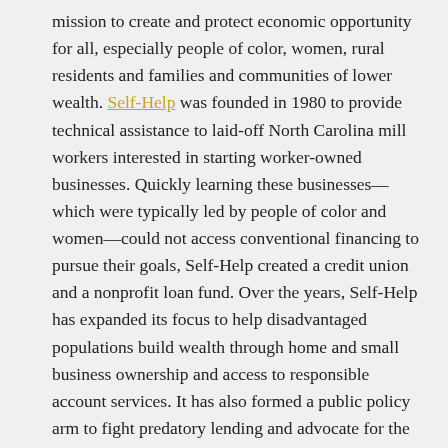mission to create and protect economic opportunity for all, especially people of color, women, rural residents and families and communities of lower wealth. Self-Help was founded in 1980 to provide technical assistance to laid-off North Carolina mill workers interested in starting worker-owned businesses. Quickly learning these businesses—which were typically led by people of color and women—could not access conventional financing to pursue their goals, Self-Help created a credit union and a nonprofit loan fund. Over the years, Self-Help has expanded its focus to help disadvantaged populations build wealth through home and small business ownership and access to responsible account services. It has also formed a public policy arm to fight predatory lending and advocate for the needs of underserved populations and develops real estate that provides accessible and affordable spaces that anchor communities.